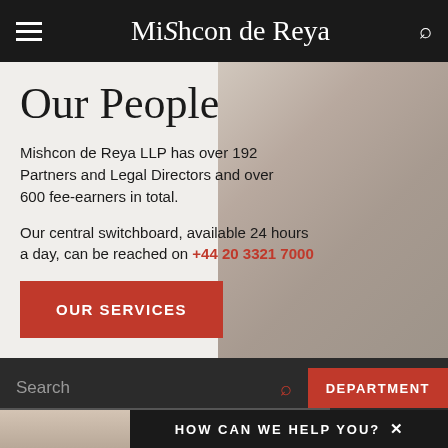Mishcon de Reya
Our People
Mishcon de Reya LLP has over 192 Partners and Legal Directors and over 600 fee-earners in total.
Our central switchboard, available 24 hours a day, can be reached on +44 20 3321 7000
OUR SERVICES
Search
DEPARTMENT
HOW CAN WE HELP YOU? ✕